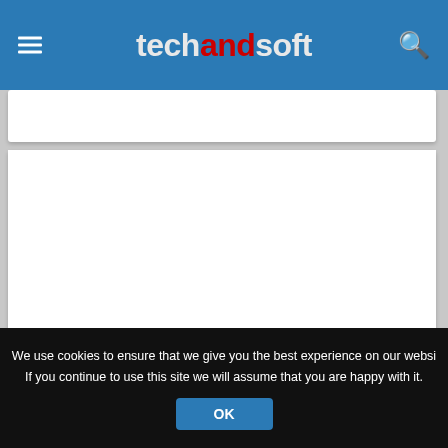techandsoft
[Figure (screenshot): Partially visible white article card at top of content area]
The best 2-in-1 laptop 2021: Choose...
[Figure (screenshot): Partially visible white article card at bottom of content area]
We use cookies to ensure that we give you the best experience on our website. If you continue to use this site we will assume that you are happy with it.
OK